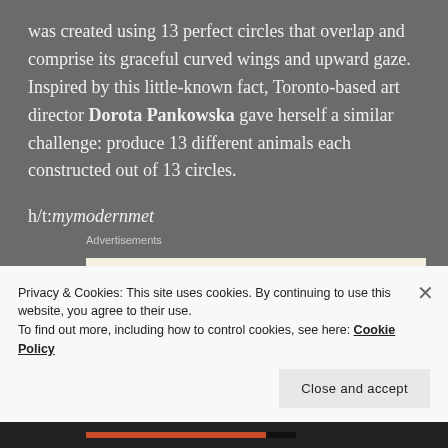was created using 13 perfect circles that overlap and comprise its graceful curved wings and upward gaze. Inspired by this little-known fact, Toronto-based art director Dorota Pankowska gave herself a similar challenge: produce 13 different animals each constructed out of 13 circles.
h/t:mymodernmet
Advertisements
[Figure (other): Advertisement banner with cream background showing text 'Professionally designed sites in less than a week']
Privacy & Cookies: This site uses cookies. By continuing to use this website, you agree to their use. To find out more, including how to control cookies, see here: Cookie Policy
Close and accept